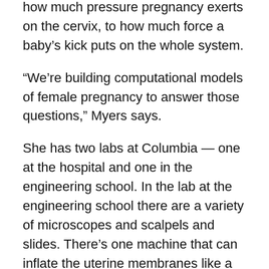how much pressure pregnancy exerts on the cervix, to how much force a baby's kick puts on the whole system.
“We’re building computational models of female pregnancy to answer those questions,” Myers says.
She has two labs at Columbia — one at the hospital and one in the engineering school. In the lab at the engineering school there are a variety of microscopes and scalpels and slides. There’s one machine that can inflate the uterine membranes like a balloon, and another, about the size of a microwave, that stretches uterine tissue between two grips.
“These [are] types of machines you’ll see in all different kinds of material testing labs,” Myers explains. “In civil engineering you can have one of these machines that is